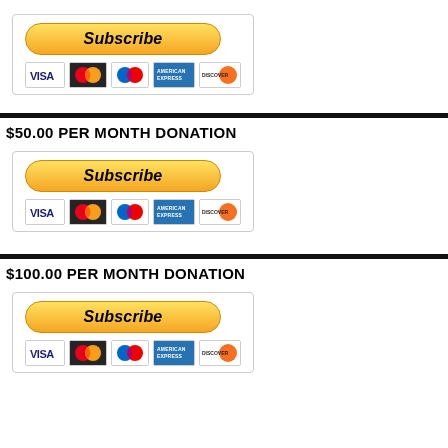[Figure (screenshot): PayPal Subscribe button with credit card icons (VISA, Mastercard, Discover, American Express)]
$50.00 PER MONTH DONATION
[Figure (screenshot): PayPal Subscribe button with credit card icons (VISA, Mastercard, Discover, American Express)]
$100.00 PER MONTH DONATION
[Figure (screenshot): PayPal Subscribe button with credit card icons (VISA, Mastercard, Discover, American Express)]